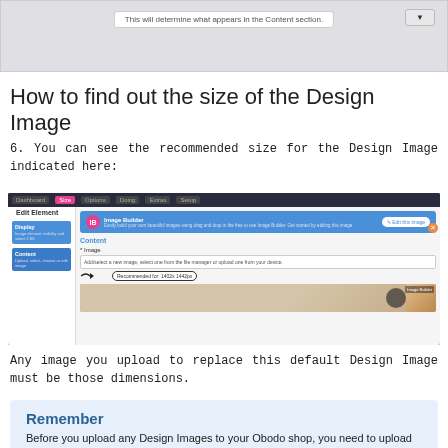[Figure (screenshot): Top portion of a UI screenshot showing a content section dialog with a dropdown]
How to find out the size of the Design Image
6. You can see the recommended size for the Design Image indicated here:
[Figure (screenshot): Screenshot of Edit Element dialog showing Image Builder panel with Content section, Image field, and recommended size annotation with arrow pointing to recommended size label. Shows a bakery image preview with text 'Freshly baked breads every day.']
Any image you upload to replace this default Design Image must be those dimensions.
Remember
Before you upload any Design Images to your Obodo shop, you need to upload them to Tinypng.com first to optimise them. Optimising your images means